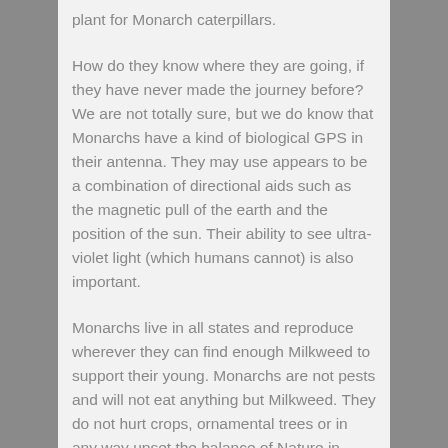plant for Monarch caterpillars.
How do they know where they are going, if they have never made the journey before? We are not totally sure, but we do know that Monarchs have a kind of biological GPS in their antenna. They may use appears to be a combination of directional aids such as the magnetic pull of the earth and the position of the sun. Their ability to see ultra-violet light (which humans cannot) is also important.
Monarchs live in all states and reproduce wherever they can find enough Milkweed to support their young. Monarchs are not pests and will not eat anything but Milkweed. They do not hurt crops, ornamental trees or in any way upset the balance of Nature in areas they are introduced.
Monarchs are not as plentiful as they were years ago; the use of insecticides and herbicides has eliminated much of their habitat. The milkweed the Monarch depend upon for